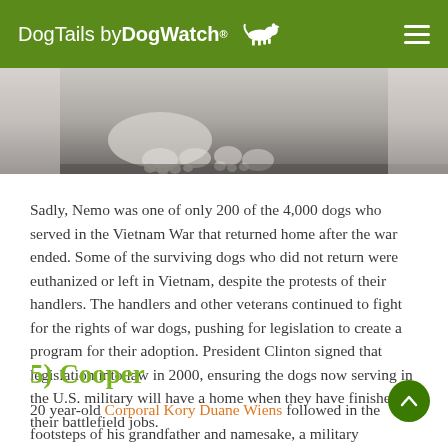DogTails by DogWatch®
[Figure (photo): Close-up black and white photograph of a dog's paws resting on a surface, cropped to show only the lower portion of the dog]
Sadly, Nemo was one of only 200 of the 4,000 dogs who served in the Vietnam War that returned home after the war ended. Some of the surviving dogs who did not return were euthanized or left in Vietnam, despite the protests of their handlers. The handlers and other veterans continued to fight for the rights of war dogs, pushing for legislation to create a program for their adoption. President Clinton signed that legislation into law in 2000, ensuring the dogs now serving in the U.S. military will have a home when they have finished their battlefield jobs.
5) Cooper
20 year-old Corporal Kory Duane Wiens followed in the footsteps of his grandfather and namesake, a military